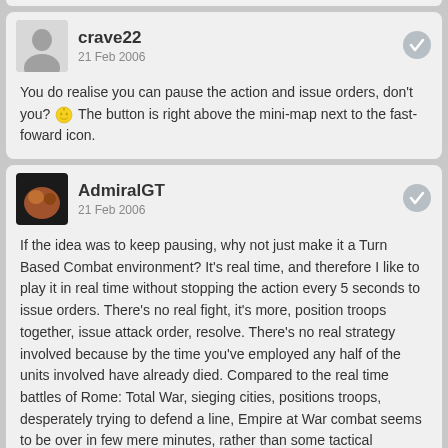crave22
21 Feb 2006
You do realise you can pause the action and issue orders, don't you? 😎 The button is right above the mini-map next to the fast-foward icon.
AdmiralGT
21 Feb 2006
If the idea was to keep pausing, why not just make it a Turn Based Combat environment? It's real time, and therefore I like to play it in real time without stopping the action every 5 seconds to issue orders. There's no real fight, it's more, position troops together, issue attack order, resolve. There's no real strategy involved because by the time you've employed any half of the units involved have already died. Compared to the real time battles of Rome: Total War, sieging cities, positions troops, desperately trying to defend a line, Empire at War combat seems to be over in few mere minutes, rather than some tactical encounter.
Boy_suicide
21 Feb 2006